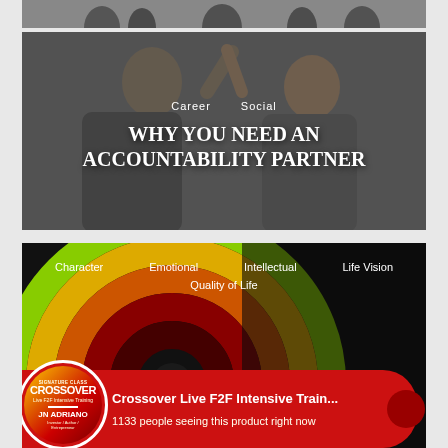[Figure (photo): Partial view of people silhouettes, top strip]
[Figure (photo): Two people in business attire giving a high-five, dark overlay background]
Career   Social
WHY YOU NEED AN ACCOUNTABILITY PARTNER
[Figure (photo): Colorful circular target/bullseye graphic with dark background]
Character   Emotional   Intellectual   Life Vision   Quality of Life
[Figure (infographic): Red promo banner with circular thumbnail showing CROSSOVER branding and JN ADRIANO name, product title Crossover Live F2F Intensive Train... and 1133 people seeing this product right now]